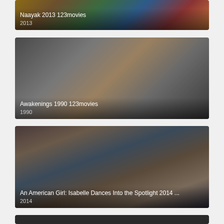[Figure (photo): Movie thumbnail for Naayak 2013 123movies showing colorful dance scene with performers]
Naayak 2013 123movies
2013
[Figure (photo): Movie thumbnail for Awakenings 1990 123movies showing two men in conversation]
Awakenings 1990 123movies
1990
[Figure (photo): Movie thumbnail for An American Girl: Isabelle Dances Into the Spotlight 2014 showing children]
An American Girl: Isabelle Dances Into the Spotlight 2014 ...
2014
[Figure (photo): Partial movie thumbnail at bottom of page, dark image]